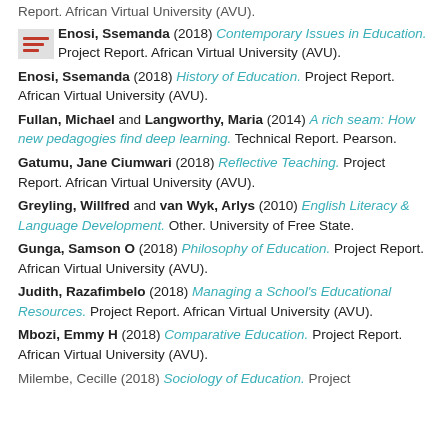Report. African Virtual University (AVU).
Enosi, Ssemanda (2018) Contemporary Issues in Education. Project Report. African Virtual University (AVU).
Enosi, Ssemanda (2018) History of Education. Project Report. African Virtual University (AVU).
Fullan, Michael and Langworthy, Maria (2014) A rich seam: How new pedagogies find deep learning. Technical Report. Pearson.
Gatumu, Jane Ciumwari (2018) Reflective Teaching. Project Report. African Virtual University (AVU).
Greyling, Willfred and van Wyk, Arlys (2010) English Literacy & Language Development. Other. University of Free State.
Gunga, Samson O (2018) Philosophy of Education. Project Report. African Virtual University (AVU).
Judith, Razafimbelo (2018) Managing a School's Educational Resources. Project Report. African Virtual University (AVU).
Mbozi, Emmy H (2018) Comparative Education. Project Report. African Virtual University (AVU).
Milembe, Cecille (2018) Sociology of Education. Project...